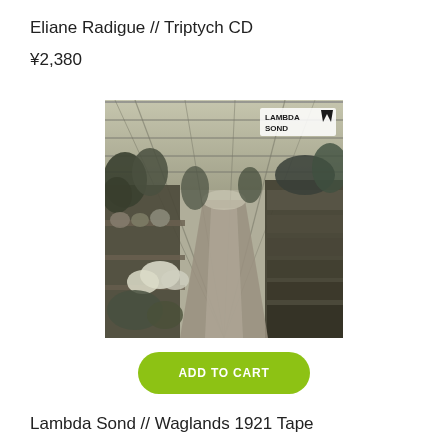Eliane Radigue // Triptych CD
¥2,380
[Figure (photo): Black and white photograph of a greenhouse interior with plants and flowers on benches along both sides, a glass roof with structural beams, and a perspective path down the center. Lambda Sond logo visible in the upper right corner.]
ADD TO CART
Lambda Sond // Waglands 1921 Tape